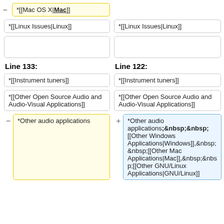*[[Mac OS X|Mac]]
*[[Linux Issues|Linux]]
*[[Linux Issues|Linux]]
Line 133:
Line 122:
*[[Instrument tuners]]
*[[Instrument tuners]]
*[[Other Open Source Audio and Audio-Visual Applications]]
*[[Other Open Source Audio and Audio-Visual Applications]]
*Other audio applications
*Other audio applications;&nbsp;&nbsp;[[Other Windows Applications|Windows]],&nbsp; &nbsp;[[Other Mac Applications|Mac]],&nbsp;&nbs p;[[Other GNU/Linux Applications|GNU/Linux]]